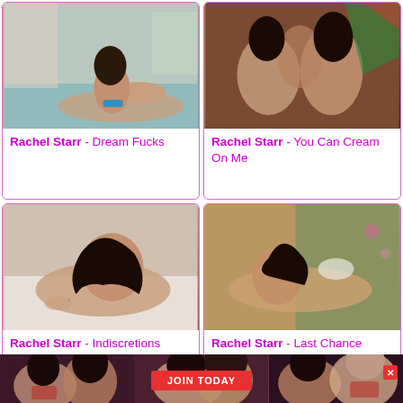[Figure (photo): Person by pool in bikini, back arched]
Rachel Starr - Dream Fucks
[Figure (photo): Three people in adult scene with colorful background]
Rachel Starr - You Can Cream On Me
[Figure (photo): Woman on bed, adult content]
Rachel Starr - Indiscretions Scene 2
[Figure (photo): Woman outdoors on patio, adult content]
Rachel Starr - Last Chance Scene 2
[Figure (photo): Banner with three panels showing women, JOIN TODAY button]
JOIN TODAY